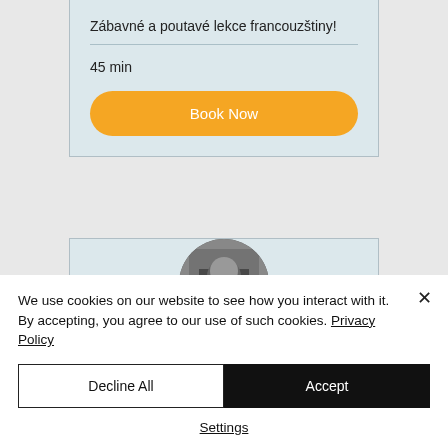Zábavné a poutavé lekce francouzštiny!
45 min
[Figure (screenshot): Orange rounded 'Book Now' button]
[Figure (photo): Circular profile photo in grayscale showing a person]
We use cookies on our website to see how you interact with it. By accepting, you agree to our use of such cookies. Privacy Policy
[Figure (other): Decline All and Accept buttons, then Settings link in cookie banner]